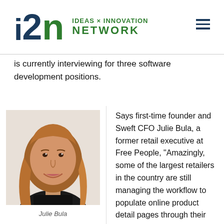IDEAS x INNOVATION NETWORK (i2n logo)
is currently interviewing for three software development positions.
[Figure (photo): Headshot photo of Julie Bula, a woman with shoulder-length light brown hair, smiling, wearing a dark top]
Julie Bula
Says first-time founder and Sweft CFO Julie Bula, a former retail executive at Free People, “Amazingly, some of the largest retailers in the country are still managing the workflow to populate online product detail pages through their own outdated Excel